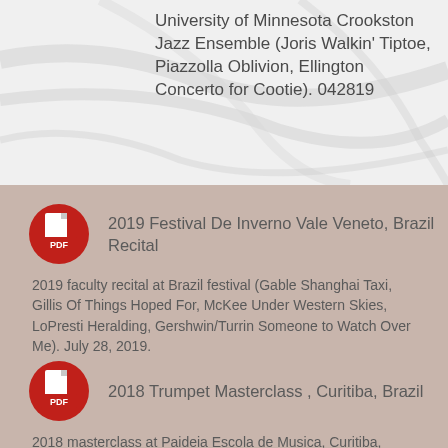University of Minnesota Crookston Jazz Ensemble (Joris Walkin' Tiptoe, Piazzolla Oblivion, Ellington Concerto for Cootie). 042819
[Figure (illustration): Red circular PDF file icon with white document shape and 'PDF' label in white text]
2019 Festival De Inverno Vale Veneto, Brazil Recital
2019 faculty recital at Brazil festival (Gable Shanghai Taxi, Gillis Of Things Hoped For, McKee Under Western Skies, LoPresti Heralding, Gershwin/Turrin Someone to Watch Over Me). July 28, 2019.
[Figure (illustration): Red circular PDF file icon with white document shape and 'PDF' label in white text]
2018 Trumpet Masterclass , Curitiba, Brazil
2018 masterclass at Paideia Escola de Musica, Curitiba, Brazil. July 19, 2018.